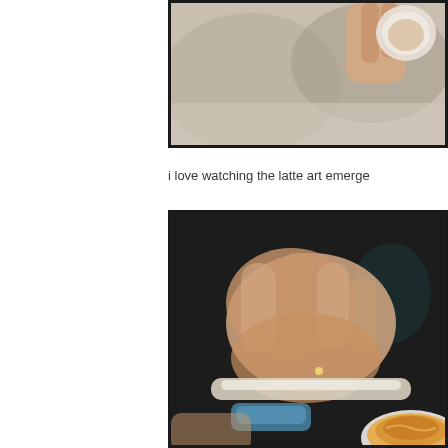[Figure (photo): Close-up photo of hands pouring latte art into a coffee cup, partially cropped at top of page]
i love watching the latte art emerge
[Figure (photo): Close-up photo of a barista's hand using a tool to create latte art, with a coffee cup visible at bottom right showing orange/caramel colored foam]